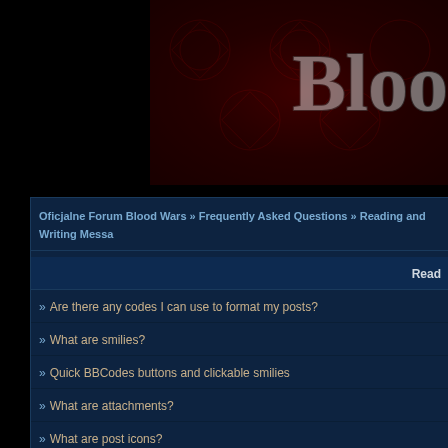[Figure (screenshot): Blood Wars forum banner header with dark red ornamental pattern background and 'BLOO' silver metallic text visible]
Oficjalne Forum Blood Wars » Frequently Asked Questions » Reading and Writing Messa
Read
» Are there any codes I can use to format my posts?
» What are smilies?
» Quick BBCodes buttons and clickable smilies
» What are attachments?
» What are post icons?
» How can I edit my posts?
» Why are some words censored in my posts?
» What is email notification?
» What are prefixes?